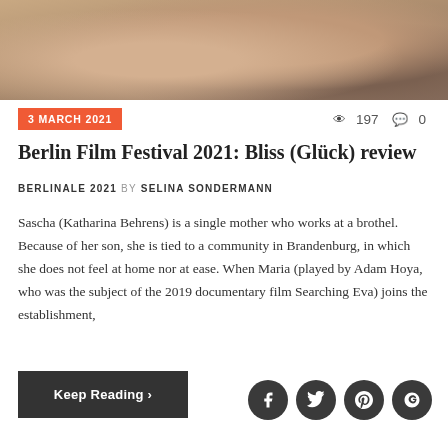[Figure (photo): Close-up photo of two people at the top of the article]
3 MARCH 2021
197  0
Berlin Film Festival 2021: Bliss (Glück) review
BERLINALE 2021 BY SELINA SONDERMANN
Sascha (Katharina Behrens) is a single mother who works at a brothel. Because of her son, she is tied to a community in Brandenburg, in which she does not feel at home nor at ease. When Maria (played by Adam Hoya, who was the subject of the 2019 documentary film Searching Eva) joins the establishment,
Keep Reading >
[Figure (other): Social media share buttons: Facebook, Twitter, Pinterest, Google+]